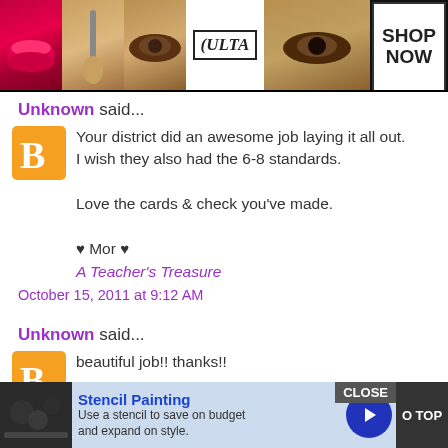[Figure (photo): Ulta beauty advertisement banner with makeup images (red lips, makeup brush, eye with smoky makeup, Ulta logo, another eye) and SHOP NOW text]
Unknown said...
Your district did an awesome job laying it all out. I wish they also had the 6-8 standards.

Love the cards & check you've made.

♥ Mor ♥
A Teacher's Treasure
October 15, 2011 at 9:12 AM
Unknown said...
beautiful job!! thanks!!
October 15, 2011 at 11:43 AM
[Figure (photo): Bottom advertisement: Stencil Painting — Use a stencil to save on budget and expand on style, with image of paint and a blue arrow button, plus CLOSE button and O TOP button]